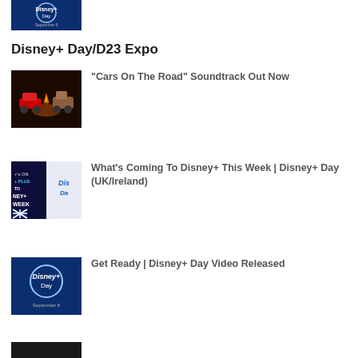[Figure (illustration): Disney+ Day logo on dark blue background, September 8]
Disney+ Day/D23 Expo
[Figure (illustration): Cars on the Road - animated movie thumbnail showing Lightning McQueen and Mater by a campfire]
“Cars On The Road” Soundtrack Out Now
[Figure (illustration): What's Coming To Disney+ This Week - UK/Ireland Disney+ Day banner]
What’s Coming To Disney+ This Week | Disney+ Day (UK/Ireland)
[Figure (illustration): Disney+ Day logo on dark blue background, September 8]
Get Ready | Disney+ Day Video Released
[Figure (illustration): Partially visible thumbnail at bottom of page]